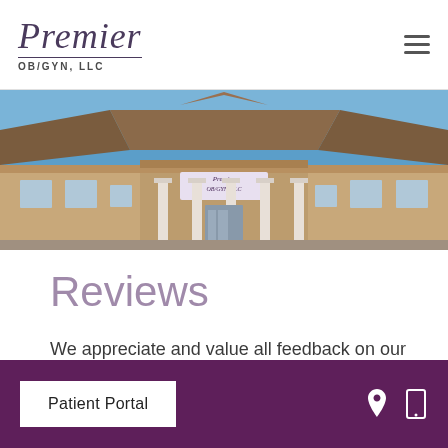Premier OB/GYN, LLC
[Figure (photo): Exterior photograph of Premier OB/GYN, LLC building with tan/beige facade, white columns, copper/brown roof, and blue sky background. The Premier OB/GYN sign is visible above the entrance.]
Reviews
We appreciate and value all feedback on our services. See what people are saying about us:
Patient Portal